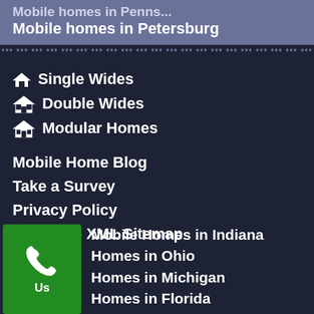Mobile homes in Petersburg
Single Wides
Double Wides
Modular Homes
Mobile Home Blog
Take a Survey
Privacy Policy
Sitemap - XML Sitemap
Mobile Homes in Indiana
Homes in Ohio
Homes in Michigan
Homes in Florida
[Figure (other): Green phone/call button with phone icon and label 'Us']